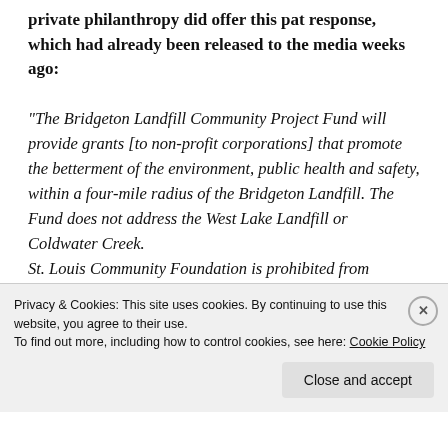private philanthropy did offer this pat response, which had already been released to the media weeks ago:
“The Bridgeton Landfill Community Project Fund will provide grants [to non-profit corporations] that promote the betterment of the environment, public health and safety, within a four-mile radius of the Bridgeton Landfill. The Fund does not address the West Lake Landfill or Coldwater Creek. St. Louis Community Foundation is prohibited from making
Privacy & Cookies: This site uses cookies. By continuing to use this website, you agree to their use.
To find out more, including how to control cookies, see here: Cookie Policy